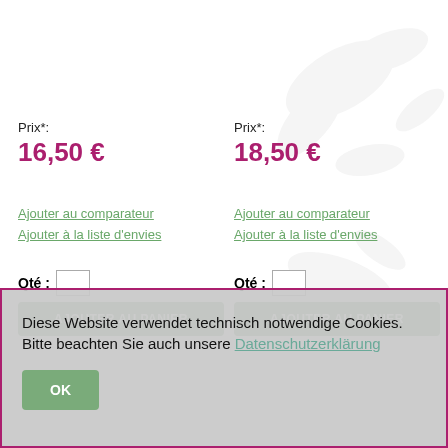Prix*: 16,50 €
Prix*: 18,50 €
Ajouter au comparateur
Ajouter à la liste d'envies
Ajouter au comparateur
Ajouter à la liste d'envies
Qté :
AJOUTER AU PANIER
Qté :
AJOUTER AU PANIER
Diese Website verwendet technisch notwendige Cookies. Bitte beachten Sie auch unsere Datenschutzerklärung
OK